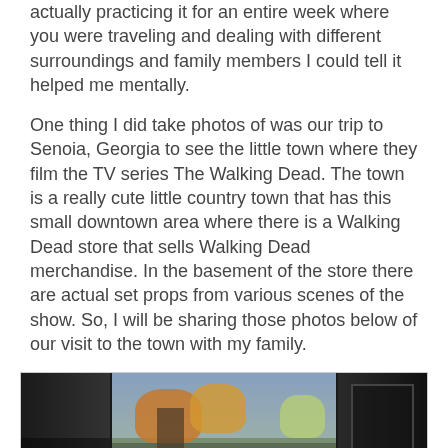actually practicing it for an entire week where you were traveling and dealing with different surroundings and family members I could tell it helped me mentally.
One thing I did take photos of was our trip to Senoia, Georgia to see the little town where they film the TV series The Walking Dead.  The town is a really cute little country town that has this small downtown area where there is a Walking Dead store that sells Walking Dead merchandise.    In the basement of the store there are actual set props from various scenes of the show.  So, I will be sharing those photos below of our visit to the town with my family.
[Figure (photo): Partial photo collage showing the town of Senoia, Georgia with outdoor scenes including autumn trees and what appears to be a street or storefront area.]